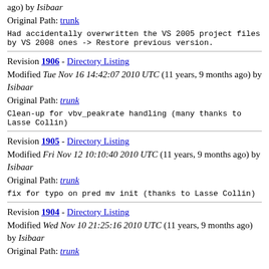ago) by Isibaar
Original Path: trunk
Had accidentally overwritten the VS 2005 project files by VS 2008 ones -> Restore previous version.
Revision 1906 - Directory Listing
Modified Tue Nov 16 14:42:07 2010 UTC (11 years, 9 months ago) by Isibaar
Original Path: trunk
Clean-up for vbv_peakrate handling (many thanks to Lasse Collin)
Revision 1905 - Directory Listing
Modified Fri Nov 12 10:10:40 2010 UTC (11 years, 9 months ago) by Isibaar
Original Path: trunk
fix for typo on pred mv init (thanks to Lasse Collin)
Revision 1904 - Directory Listing
Modified Wed Nov 10 21:25:16 2010 UTC (11 years, 9 months ago) by Isibaar
Original Path: trunk